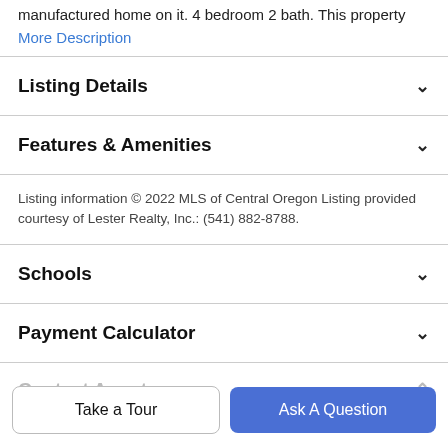manufactured home on it. 4 bedroom 2 bath. This property
More Description
Listing Details
Features & Amenities
Listing information © 2022 MLS of Central Oregon Listing provided courtesy of Lester Realty, Inc.: (541) 882-8788.
Schools
Payment Calculator
Contact Agent
Take a Tour
Ask A Question